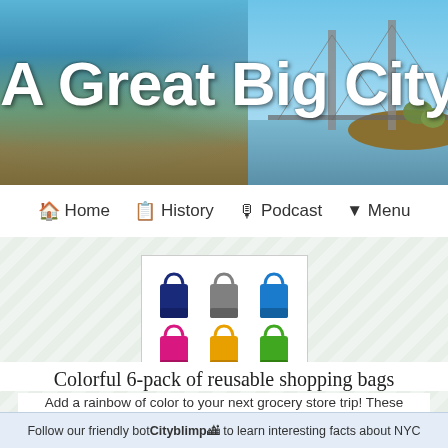[Figure (photo): Header banner with city bridge and waterfront landscape background with large white bold text 'A Great Big City']
A Great Big City
🏠 Home  📋 History  🎙 Podcast  ▼ Menu
[Figure (photo): Colorful 6-pack of reusable shopping bags in two rows: navy, gray, blue (top row) and pink, yellow, green (bottom row)]
Colorful 6-pack of reusable shopping bags
Add a rainbow of color to your next grocery store trip! These reusable bags pack down small and are strong enough to hold way more than a trashy plastic bag 💪
Follow our friendly bot Cityblimp 🏙 to learn interesting facts about NYC